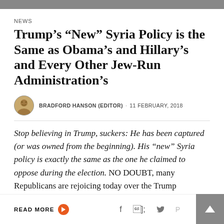[Figure (photo): Top image bar (partially visible photo strip)]
NEWS
Trump’s “New” Syria Policy is the Same as Obama’s and Hillary’s and Every Other Jew-Run Administration’s
BRADFORD HANSON (EDITOR) · 11 FEBRUARY, 2018
Stop believing in Trump, suckers: He has been captured (or was owned from the beginning). His “new” Syria policy is exactly the same as the one he claimed to oppose during the election. NO DOUBT, many Republicans are rejoicing today over the Trump administration’s announcement of its…
READ MORE